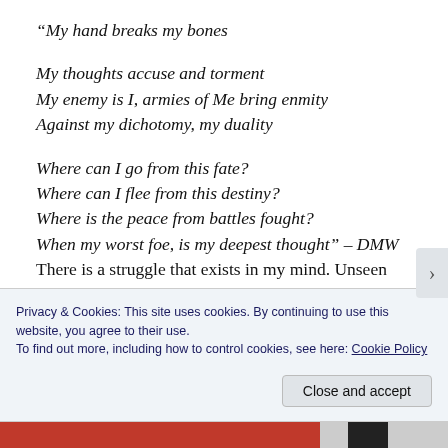“My hand breaks my bones

My thoughts accuse and torment
My enemy is I, armies of Me bring enmity
Against my dichotomy, my duality

Where can I go from this fate?
Where can I flee from this destiny?
Where is the peace from battles fought?
When my worst foe, is my deepest thought” – DMW
There is a struggle that exists in my mind. Unseen enemies launch terroristic attacks against my peace
Privacy & Cookies: This site uses cookies. By continuing to use this website, you agree to their use.
To find out more, including how to control cookies, see here: Cookie Policy